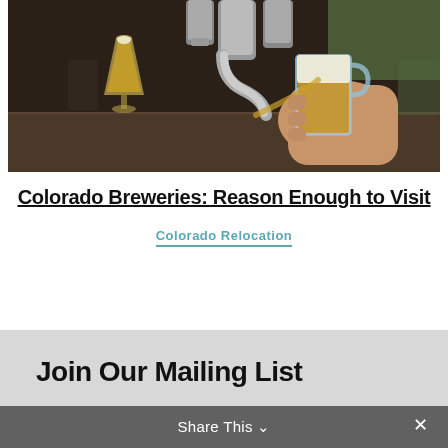[Figure (photo): Close-up photo of a hand holding a glass mug being filled with beer from a tap at a bar. A stemmed beer glass is visible in the background on the left. Bar tap handles are prominent in the center foreground.]
Colorado Breweries: Reason Enough to Visit
Colorado Relocation
Join Our Mailing List
Share This ∨  ✕